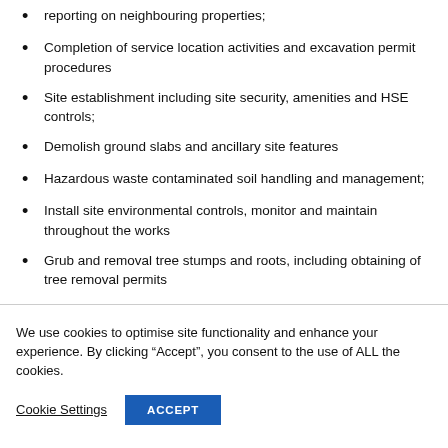reporting on neighbouring properties;
Completion of service location activities and excavation permit procedures
Site establishment including site security, amenities and HSE controls;
Demolish ground slabs and ancillary site features
Hazardous waste contaminated soil handling and management;
Install site environmental controls, monitor and maintain throughout the works
Grub and removal tree stumps and roots, including obtaining of tree removal permits
We use cookies to optimise site functionality and enhance your experience. By clicking “Accept”, you consent to the use of ALL the cookies.
Cookie Settings  ACCEPT